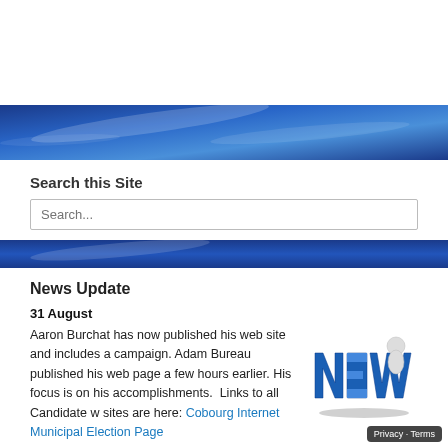[Figure (illustration): Blue gradient banner with light swirl/wave highlights at the top of the page]
Search this Site
[Figure (screenshot): Search input box with placeholder text 'Search...']
[Figure (illustration): Blue gradient banner at the bottom of the search section]
News Update
31 August
Aaron Burchat has now published his web site and includes a campaign. Adam Bureau published his web page a few hours earlier. His focus is on his accomplishments. Links to all Candidate w sites are here: Cobourg Internet Municipal Election Page